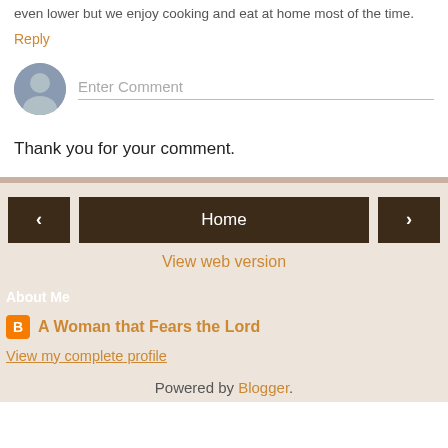even lower but we enjoy cooking and eat at home most of the time.
Reply
Enter Comment
Thank you for your comment.
‹
Home
›
View web version
About Me
A Woman that Fears the Lord
View my complete profile
Powered by Blogger.